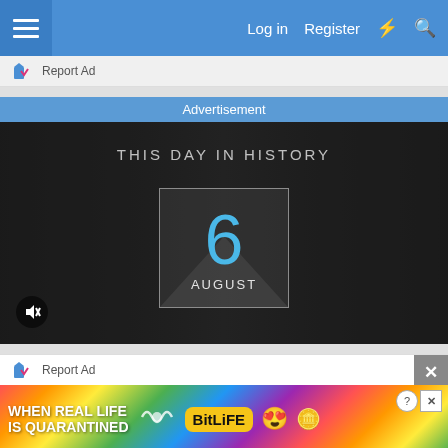Log in  Register
Report Ad
Advertisement
[Figure (screenshot): This Day in History banner with the number 6 and AUGUST displayed in a box overlay on a dark background with multiple images]
Report Ad
[Figure (screenshot): BitLife game advertisement: WHEN REAL LIFE IS QUARANTINED with BitLife logo and emoji characters]